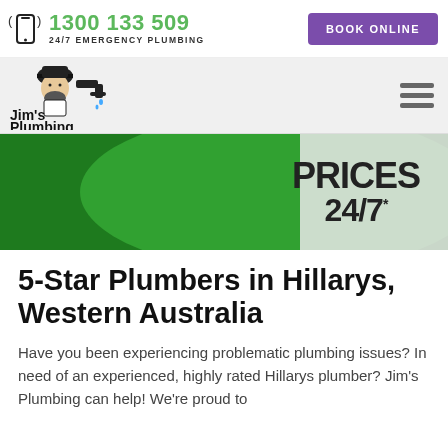1300 133 509 | 24/7 EMERGENCY PLUMBING | BOOK ONLINE
[Figure (logo): Jim's Plumbing logo with illustrated plumber character and faucet graphic]
[Figure (photo): Hero banner image showing green background with text PRICES 24/7 and a person holding a sign]
5-Star Plumbers in Hillarys, Western Australia
Have you been experiencing problematic plumbing issues? In need of an experienced, highly rated Hillarys plumber? Jim's Plumbing can help! We're proud to